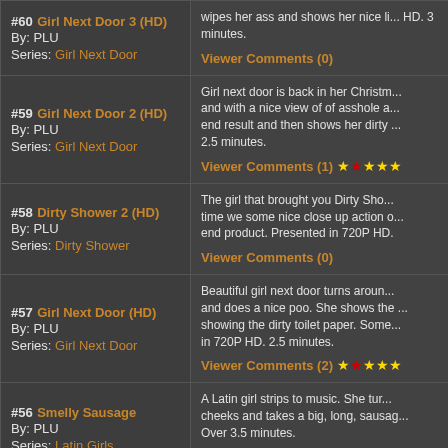#60 Girl Next Door 3 (HD) By: PLU Series: Girl Next Door | wipes her ass and shows her nice li... HD. 3 minutes. Viewer Comments (0)
#59 Girl Next Door 2 (HD) By: PLU Series: Girl Next Door | Girl next door is back in her Christm... and with a nice view of of asshole a... end result and then shows her dirty ... 2.5 minutes. Viewer Comments (1) ★★★★★
#58 Dirty Shower 2 (HD) By: PLU Series: Dirty Shower | The girl that brought you Dirty Sho... time we some nice close up action o... end product. Presented in 720P HD. Viewer Comments (0)
#57 Girl Next Door (HD) By: PLU Series: Girl Next Door | Beautiful girl next door turns aroun... and does a nice poo. She shows the ... showing the dirty toilet paper. Some... in 720P HD. 2.5 minutes. Viewer Comments (2) ★★★★★
#56 Smelly Sausage By: PLU Series: Latin Girls | A Latin girl strips to music. She tur... cheeks and takes a big, long, sausag... Over 3.5 minutes. Viewer Comments (...)